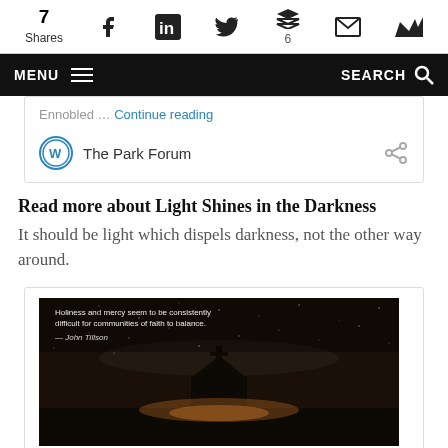7 Shares | Social share icons: Facebook, LinkedIn, Twitter, Buffer (6), Email, Crown
MENU | SEARCH
Ennobled … Continue reading
The Park Forum
Read more about Light Shines in the Darkness
It should be light which dispels darkness, not the other way around.
[Figure (photo): Night sky photo of a small church with a cross, with text overlay: 'Holiness and mercy seem to be consistently difficult for communities of faith to balance. — John Tillson']